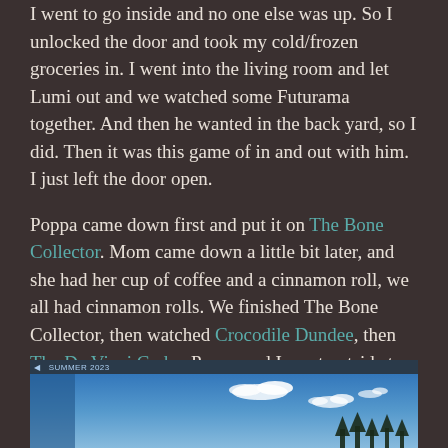I went to go inside and no one else was up. So I unlocked the door and took my cold/frozen groceries in. I went into the living room and let Lumi out and we watched some Futurama together. And then he wanted in the back yard, so I did. Then it was this game of in and out with him. I just left the door open.
Poppa came down first and put it on The Bone Collector. Mom came down a little bit later, and she had her cup of coffee and a cinnamon roll, we all had cinnamon rolls. We finished The Bone Collector, then watched Crocodile Dundee, then The Da Vinci Code.  Poppa and I went outside to paste Gucci and take off his blanket. He did good for his pasting, and he was happy to get his blanket off. We let him outside for a graze, but he didn't. I guess grass isn't the pallet cleanser I once thought it was.
[Figure (photo): A photo showing a blue sky with some clouds and dark treeline silhouette at the bottom right. Has a dark title/navigation bar at the top of the image.]